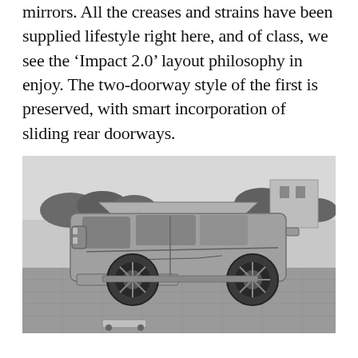mirrors. All the creases and strains have been supplied lifestyle right here, and of class, we see the ‘Impact 2.0’ layout philosophy in enjoy. The two-doorway style of the first is preserved, with smart incorporation of sliding rear doorways.
[Figure (photo): Black and white photograph of a large SUV/pickup truck concept vehicle, viewed from the rear-three-quarter angle, parked on a rooftop or elevated platform with trees and sky in the background.]